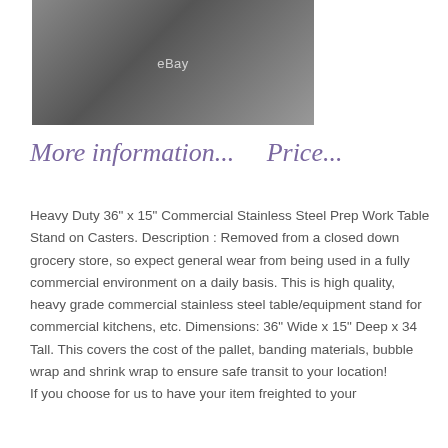[Figure (photo): Photo of a stainless steel prep work table stand on casters, shown from above on a concrete floor. eBay watermark visible in center of image.]
More information...    Price...
Heavy Duty 36" x 15" Commercial Stainless Steel Prep Work Table Stand on Casters. Description : Removed from a closed down grocery store, so expect general wear from being used in a fully commercial environment on a daily basis. This is high quality, heavy grade commercial stainless steel table/equipment stand for commercial kitchens, etc. Dimensions: 36" Wide x 15" Deep x 34 Tall. This covers the cost of the pallet, banding materials, bubble wrap and shrink wrap to ensure safe transit to your location!
If you choose for us to have your item freighted to your